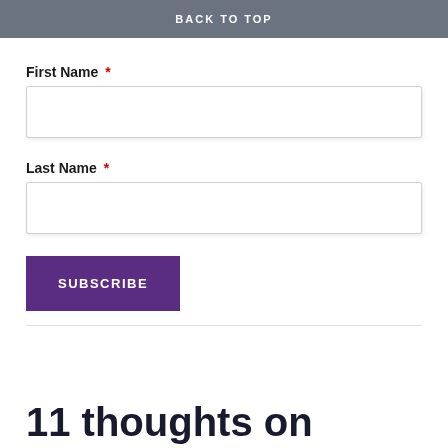BACK TO TOP
First Name *
Last Name *
SUBSCRIBE
11 thoughts on